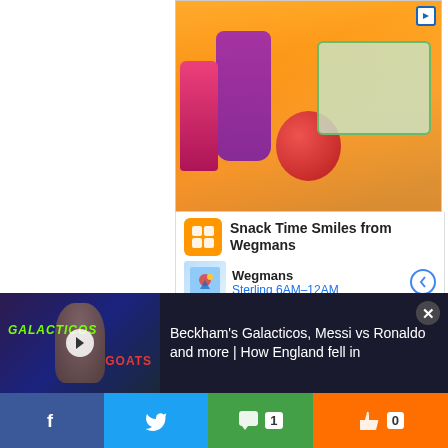[Figure (photo): Advertisement image showing a lunch box, apple, and organic snack pouch on a table with Wegmans branding. Title: Snack Time Smiles from Wegmans. Store: Wegmans Sterling 6AM-12AM.]
The £36m-rated midfielder also did his defensive duties, winning four tackles – a feat only bettered by Cristian Romero – and he even won 80% of his battles up against
[Figure (screenshot): Video thumbnail for 'Beckham's Galacticos, Messi vs Ronaldo and more | How England fell in' showing a man with GALACTICOS and GOATS text overlaid.]
Beckham's Galacticos, Messi vs Ronaldo and more | How England fell in
[Figure (other): Social share bar with Facebook, Twitter, comment (1), and like (0) buttons.]